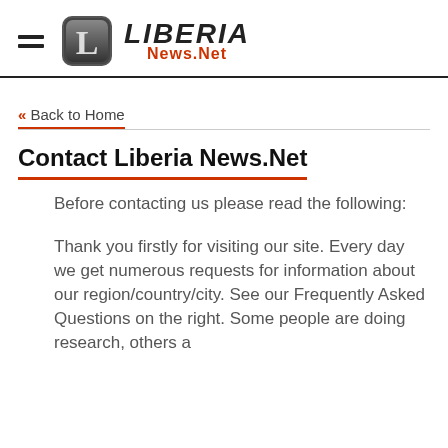LIBERIA News.Net
« Back to Home
Contact Liberia News.Net
Before contacting us please read the following:
Thank you firstly for visiting our site. Every day we get numerous requests for information about our region/country/city. See our Frequently Asked Questions on the right. Some people are doing research, others a